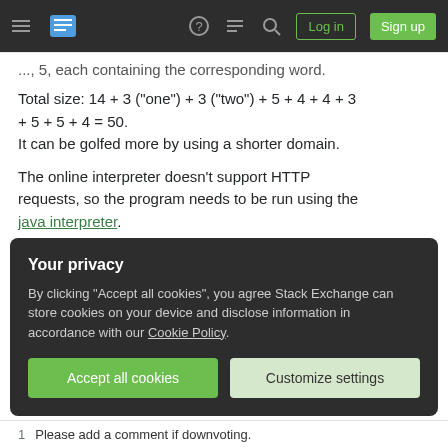Stack Exchange navigation bar with hamburger menu, logo, icons, Log in and Sign up buttons
..., 5, each containing the corresponding word.
Total size: 14 + 3 ("one") + 3 ("two") + 5 + 4 + 4 + 3 + 5 + 5 + 4 = 50.
It can be golfed more by using a shorter domain.
The online interpreter doesn't support HTTP requests, so the program needs to be run using the java interpreter.
Share   edited Jun 23, 2014 at 10:25
Improve this answer
Your privacy
By clicking "Accept all cookies", you agree Stack Exchange can store cookies on your device and disclose information in accordance with our Cookie Policy.
Accept all cookies   Customize settings
1  Please add a comment if downvoting.